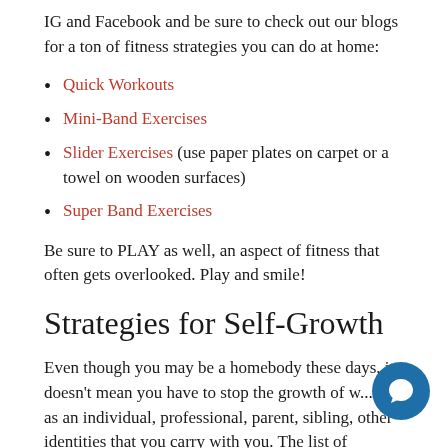IG and Facebook and be sure to check out our blogs for a ton of fitness strategies you can do at home:
Quick Workouts
Mini-Band Exercises
Slider Exercises (use paper plates on carpet or a towel on wooden surfaces)
Super Band Exercises
Be sure to PLAY as well, an aspect of fitness that often gets overlooked. Play and smile!
Strategies for Self-Growth
Even though you may be a homebody these days, it doesn't mean you have to stop the growth of w... are as an individual, professional, parent, sibling, other identities that you carry with you. The list of